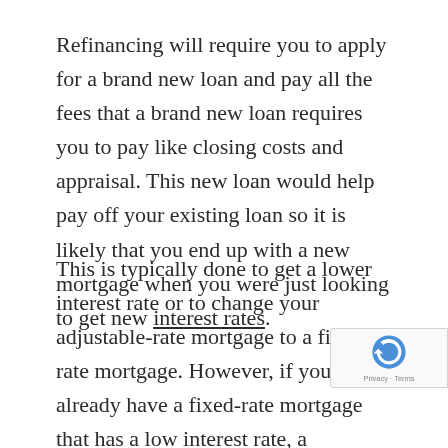Refinancing will require you to apply for a brand new loan and pay all the fees that a brand new loan requires you to pay like closing costs and appraisal. This new loan would help pay off your existing loan so it is likely that you end up with a new mortgage when you were just looking to get new interest rates.
This is typically done to get a lower interest rate or to change your adjustable-rate mortgage to a fixed-rate mortgage. However, if you already have a fixed-rate mortgage that has a low interest rate, a refinancing would not be the best option for you. But on the other hand, if you have low interest on a 30 year fixed-rate